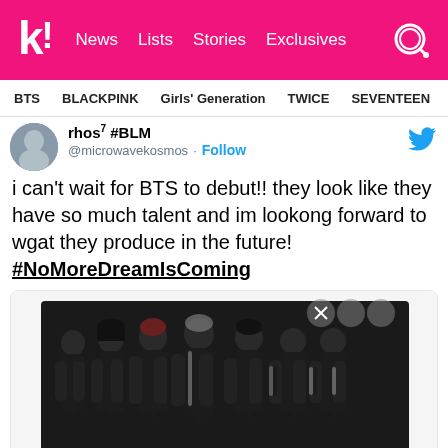k! News Lists Stories Exclusives
BTS BLACKPINK Girls' Generation TWICE SEVENTEEN
rhos⁷ #BLM @microwavekosmos · Follow
i can't wait for BTS to debut!! they look like they have so much talent and im lookong forward to wgat they produce in the future! #NoMoreDreamIsComing
[Figure (photo): A group photo of 7 BTS members wearing mostly black outfits with chains and accessories, posed against a white background.]